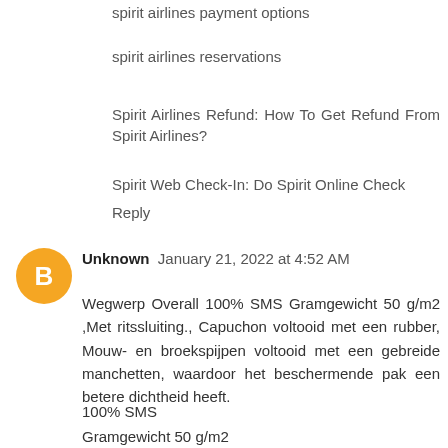spirit airlines payment options
spirit airlines reservations
Spirit Airlines Refund: How To Get Refund From Spirit Airlines?
Spirit Web Check-In: Do Spirit Online Check
Reply
Unknown  January 21, 2022 at 4:52 AM
Wegwerp Overall 100% SMS Gramgewicht 50 g/m2 ,Met ritssluiting., Capuchon voltooid met een rubber, Mouw- en broekspijpen voltooid met een gebreide manchetten, waardoor het beschermende pak een betere dichtheid heeft.
100% SMS
Gramgewicht 50 g/m2
Met ritssluiting.
Capuchon voltooid met een rubber.